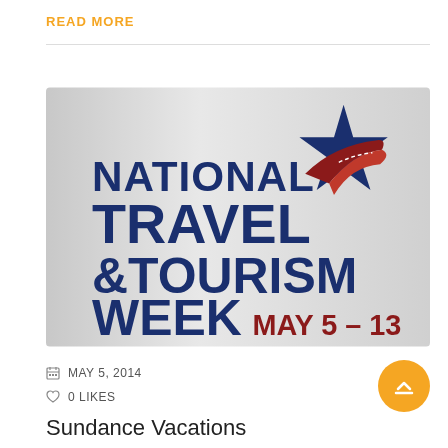READ MORE
[Figure (logo): National Travel & Tourism Week May 5-13 logo with blue star and road graphic]
MAY 5, 2014
0 LIKES
Sundance Vacations